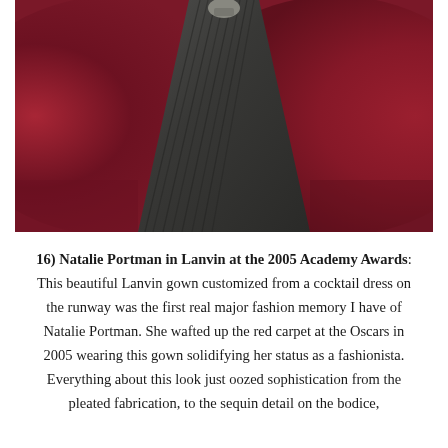[Figure (photo): Close-up photo of a dark charcoal/grey pleated gown (likely Lanvin) on a red carpet background. The lower portion of the dress and the red carpet are visible. A small metallic accessory/handbag is partially visible at the top.]
16) Natalie Portman in Lanvin at the 2005 Academy Awards: This beautiful Lanvin gown customized from a cocktail dress on the runway was the first real major fashion memory I have of Natalie Portman. She wafted up the red carpet at the Oscars in 2005 wearing this gown solidifying her status as a fashionista. Everything about this look just oozed sophistication from the pleated fabrication, to the sequin detail on the bodice,